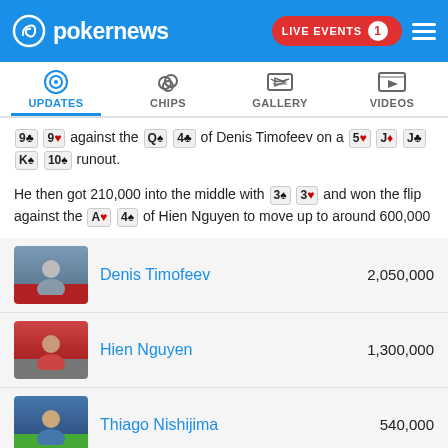pokernews — LIVE EVENTS 1
[Figure (screenshot): Navigation tabs: UPDATES (active, with radio wave icon), CHIPS (poker chips icon), GALLERY (image icon), VIDEOS (play button icon)]
9♣ 9♥ against the Q♠ 4♣ of Denis Timofeev on a 5♥ J♦ J♣ K♠ 10♠ runout.
He then got 210,000 into the middle with 3♠ 3♥ and won the flip against the A♥ 4♠ of Hien Nguyen to move up to around 600,000
| Player | Chips |
| --- | --- |
| Denis Timofeev | 2,050,000 |
| Hien Nguyen | 1,300,000 |
| Thiago Nishijima | 540,000 |